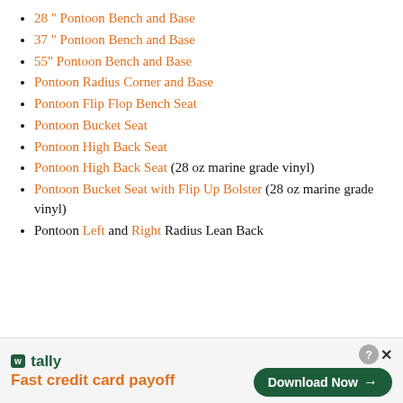28 " Pontoon Bench and Base
37 " Pontoon Bench and Base
55" Pontoon Bench and Base
Pontoon Radius Corner and Base
Pontoon Flip Flop Bench Seat
Pontoon Bucket Seat
Pontoon High Back Seat
Pontoon High Back Seat (28 oz marine grade vinyl)
Pontoon Bucket Seat with Flip Up Bolster (28 oz marine grade vinyl)
Pontoon Left and Right Radius Lean Back
[Figure (infographic): Tally advertisement banner: logo with 'Fast credit card payoff' tagline and 'Download Now' button with close icons]